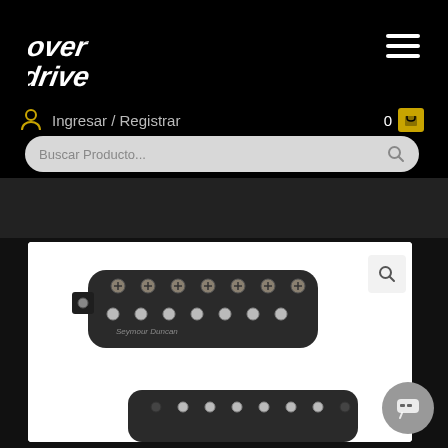[Figure (logo): Overdrive store logo in white italic stylized text on black background]
Ingresar / Registrar
Buscar Producto...
[Figure (photo): Two Seymour Duncan black guitar pickups (humbuckers) on white background, 7-string style with visible pole pieces and screws]